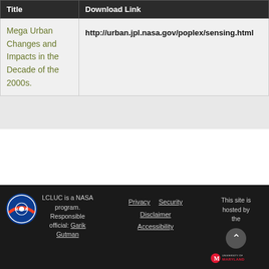| Title | Download Link |
| --- | --- |
| Mega Urban Changes and Impacts in the Decade of the 2000s. | http://urban.jpl.nasa.gov/poplex/sensing.html |
LCLUC is a NASA program. Responsible official: Garik Gutman | Privacy Security Disclaimer Accessibility | This site is hosted by the University of Maryland